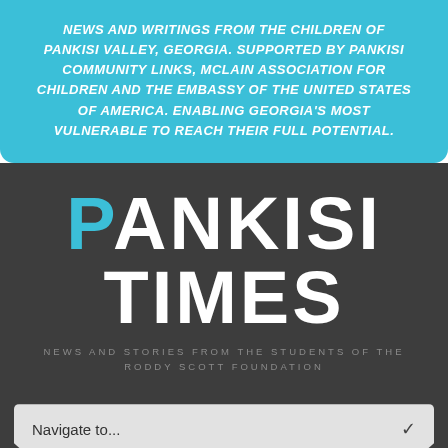NEWS AND WRITINGS FROM THE CHILDREN OF PANKISI VALLEY, GEORGIA. SUPPORTED BY PANKISI COMMUNITY LINKS, MCLAIN ASSOCIATION FOR CHILDREN AND THE EMBASSY OF THE UNITED STATES OF AMERICA. ENABLING GEORGIA'S MOST VULNERABLE TO REACH THEIR FULL POTENTIAL.
PANKISI TIMES
NEWS AND STORIES FROM THE STUDENTS OF THE RODDY SCOTT FOUNDATION
Navigate to...